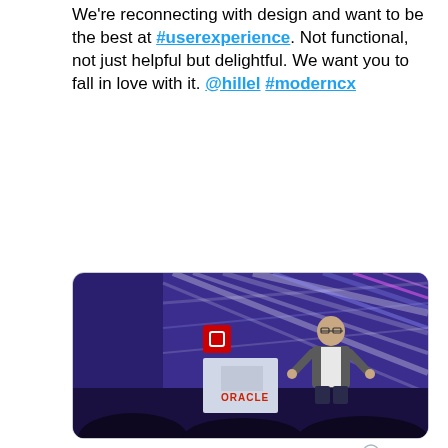We're reconnecting with design and want to be the best at #userexperience. Not functional, not just helpful but delightful. We want you to fall in love with it. @hillel #moderncx
[Figure (photo): A speaker presenting on stage at an Oracle event, with a large geometric blue/purple LED display backdrop and Oracle-branded podium]
3:57 PM · Mar 20, 2019
11   Reply   Copy link